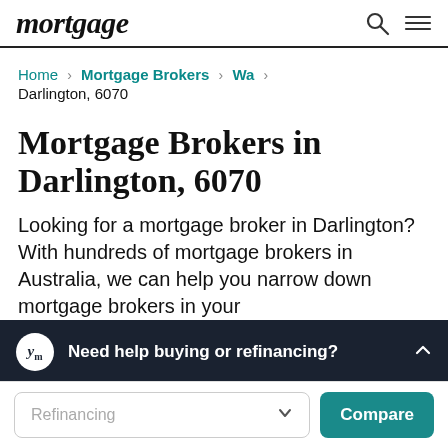mortgage
Home > Mortgage Brokers > Wa > Darlington, 6070
Mortgage Brokers in Darlington, 6070
Looking for a mortgage broker in Darlington? With hundreds of mortgage brokers in Australia, we can help you narrow down mortgage brokers in your area brokers in Darlington below or speak to
Need help buying or refinancing?
Refinancing  Compare